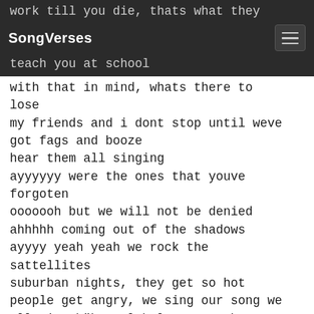work till you die, thats what they teach you at school
with that in mind, whats there to lose
my friends and i dont stop until weve got fags and booze
hear them all singing
ayyyyyy were the ones that youve forgoten
ooooooh but we will not be denied
ahhhhh coming out of the shadows
ayyyy yeah yeah we rock the sattellites
suburban nights, they get so hot
people get angry, we sing our song we all sing \"but global terror they